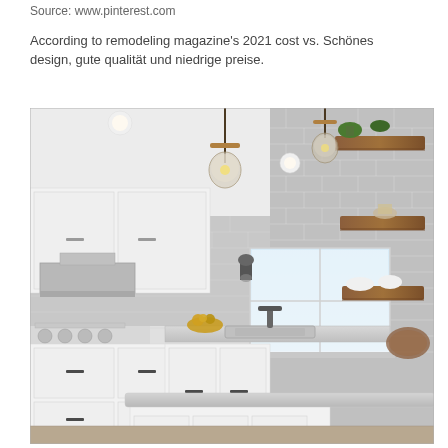Source: www.pinterest.com
According to remodeling magazine's 2021 cost vs. Schönes design, gute qualität und niedrige preise.
[Figure (photo): Interior kitchen photo showing white shaker cabinets, marble subway tile backsplash, floating wooden shelves with plants and decorative items, pendant jar lights, stainless steel range hood, large window above sink, and a kitchen island with light grey quartz countertop.]